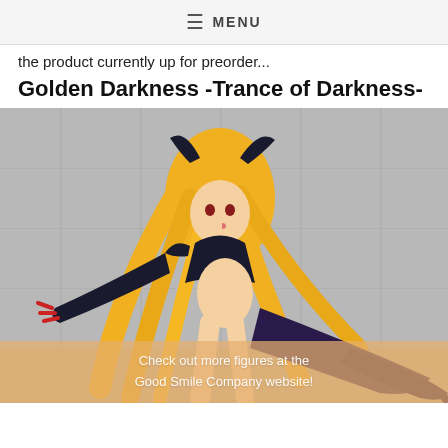≡ MENU
the product currently up for preorder...
Golden Darkness -Trance of Darkness-
[Figure (photo): Anime figure of Golden Darkness from 'To Love-Ru' in a dark outfit with long blonde hair, bat wings, and red clawed gauntlets, posed in a dynamic sitting position against a grey background.]
Check out more figures at the Good Smile Company website!